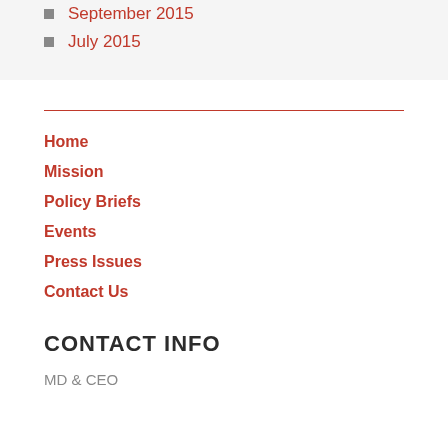September 2015
July 2015
Home
Mission
Policy Briefs
Events
Press Issues
Contact Us
CONTACT INFO
MD & CEO